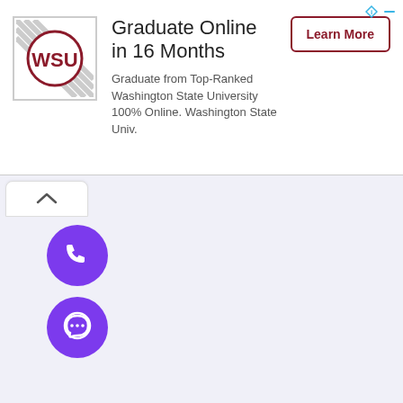[Figure (screenshot): Advertisement banner: Washington State University logo on left, title 'Graduate Online in 16 Months', description text, and 'Learn More' button on right]
[Figure (other): Tab/collapse button with upward chevron (^) arrow]
[Figure (other): Purple circular phone call button icon]
[Figure (other): Purple circular WhatsApp button icon]